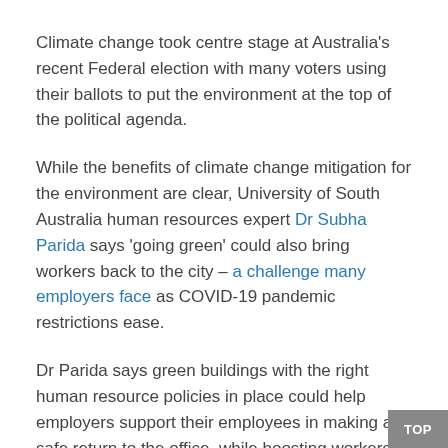Climate change took centre stage at Australia's recent Federal election with many voters using their ballots to put the environment at the top of the political agenda.
While the benefits of climate change mitigation for the environment are clear, University of South Australia human resources expert Dr Subha Parida says 'going green' could also bring workers back to the city – a challenge many employers face as COVID-19 pandemic restrictions ease.
Dr Parida says green buildings with the right human resource policies in place could help employers support their employees in making a safe return to the office, while boosting workers' wellbeing and the business bottom line.
"Our research suggests green human resource management (HRM) that fosters eco-friendly or 'green' behaviours can lead to non-green workplace benefits, such as higher job satisfaction